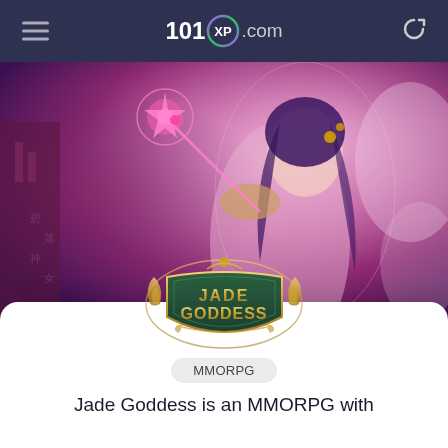101XP.com
[Figure (illustration): MMORPG game hero art featuring an anime-style female character with purple hair holding a glowing pink weapon, set against a pink/purple fantasy background]
[Figure (logo): Jade Goddess game logo — ornate gold and green shield emblem with the text JADE GODDESS]
MMORPG
Jade Goddess is an MMORPG with